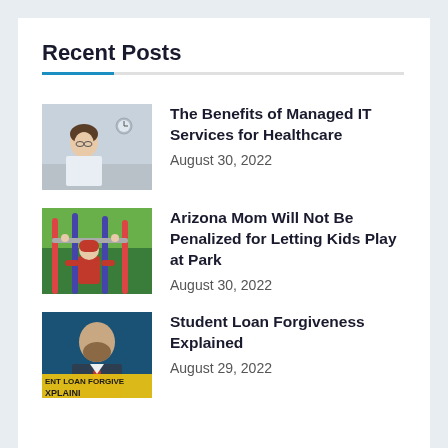Recent Posts
[Figure (photo): Healthcare professional (woman in white coat) sitting at desk, blurred background with clock]
The Benefits of Managed IT Services for Healthcare
August 30, 2022
[Figure (photo): Young child in red jacket on playground equipment]
Arizona Mom Will Not Be Penalized for Letting Kids Play at Park
August 30, 2022
[Figure (photo): Man with beard in front of blue background, overlay text reads ENT LOAN FORGIVE XPLAINI]
Student Loan Forgiveness Explained
August 29, 2022